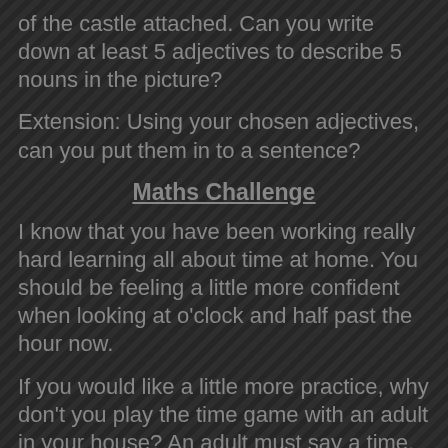of the castle attached. Can you write down at least 5 adjectives to describe 5 nouns in the picture?
Extension: Using your chosen adjectives, can you put them in to a sentence?
Maths Challenge
I know that you have been working really hard learning all about time at home. You should be feeling a little more confident when looking at o'clock and half past the hour now.
If you would like a little more practice, why don't you play the time game with an adult in your house? An adult must say a time.